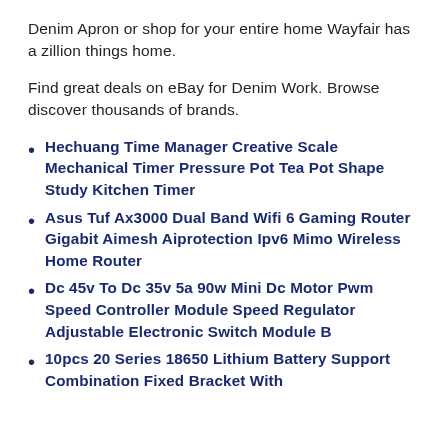Denim Apron or shop for your entire home Wayfair has a zillion things home.
Find great deals on eBay for Denim Work. Browse discover thousands of brands.
Hechuang Time Manager Creative Scale Mechanical Timer Pressure Pot Tea Pot Shape Study Kitchen Timer
Asus Tuf Ax3000 Dual Band Wifi 6 Gaming Router Gigabit Aimesh Aiprotection Ipv6 Mimo Wireless Home Router
Dc 45v To Dc 35v 5a 90w Mini Dc Motor Pwm Speed Controller Module Speed Regulator Adjustable Electronic Switch Module B
10pcs 20 Series 18650 Lithium Battery Support Combination Fixed Bracket With